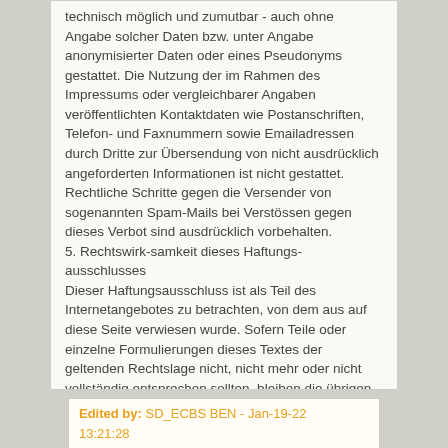technisch möglich und zumutbar - auch ohne Angabe solcher Daten bzw. unter Angabe anonymisierter Daten oder eines Pseudonyms gestattet. Die Nutzung der im Rahmen des Impressums oder vergleichbarer Angaben veröffentlichten Kontaktdaten wie Postanschriften, Telefon- und Faxnummern sowie Emailadressen durch Dritte zur Übersendung von nicht ausdrücklich angeforderten Informationen ist nicht gestattet. Rechtliche Schritte gegen die Versender von sogenannten Spam-Mails bei Verstössen gegen dieses Verbot sind ausdrücklich vorbehalten.
5. Rechtswirk-samkeit dieses Haftungs-ausschlusses
Dieser Haftungsausschluss ist als Teil des Internetangebotes zu betrachten, von dem aus auf diese Seite verwiesen wurde. Sofern Teile oder einzelne Formulierungen dieses Textes der geltenden Rechtslage nicht, nicht mehr oder nicht vollständig entsprechen sollten, bleiben die übrigen Teile des Dokumentes in ihrem Inhalt und ihrer Gültigkeit davon unberührt.
Edited by: SD_ECBS BEN - Jan-19-22 13:21:28